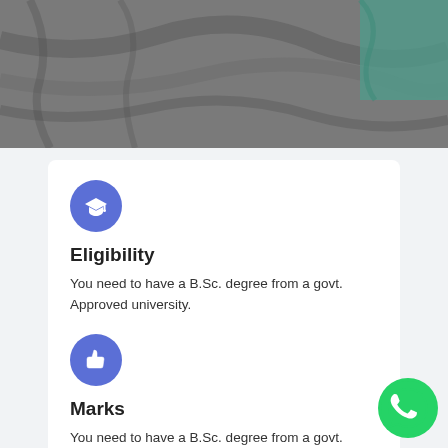[Figure (photo): Grayscale photo of bed/pillows with teal fabric visible at top right corner]
[Figure (illustration): Blue circle icon with white graduation cap symbol]
Eligibility
You need to have a B.Sc. degree from a govt. Approved university.
[Figure (illustration): Blue circle icon with white thumbs up symbol]
Marks
You need to have a B.Sc. degree from a govt. Approved university.
[Figure (logo): Green WhatsApp logo button in bottom right corner]